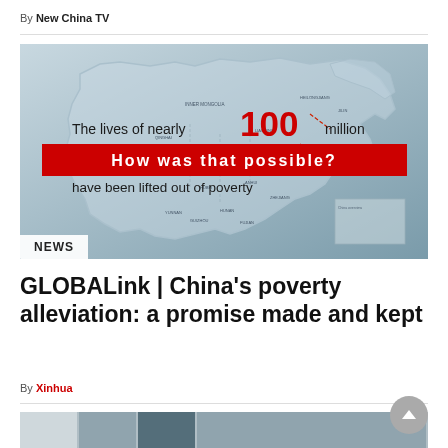By New China TV
[Figure (screenshot): Screenshot from a video showing a map of China with text overlay: 'The lives of nearly 100 million How was that possible? have been lifted out of poverty'. A red banner reads 'How was that possible?'. A 'NEWS' tag appears in the bottom left corner.]
GLOBALink | China's poverty alleviation: a promise made and kept
By Xinhua
[Figure (photo): Partial thumbnail strip of another article image showing blue/grey architectural elements.]